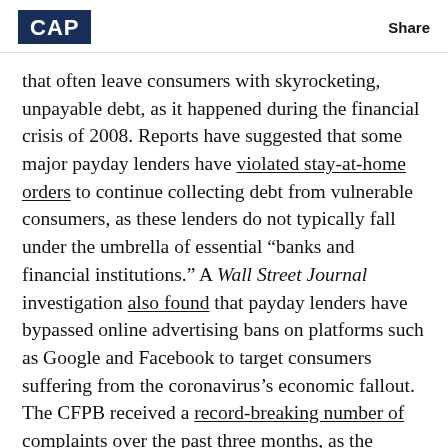CAP | Share
that often leave consumers with skyrocketing, unpayable debt, as it happened during the financial crisis of 2008. Reports have suggested that some major payday lenders have violated stay-at-home orders to continue collecting debt from vulnerable consumers, as these lenders do not typically fall under the umbrella of essential “banks and financial institutions.” A Wall Street Journal investigation also found that payday lenders have bypassed online advertising bans on platforms such as Google and Facebook to target consumers suffering from the coronavirus’s economic fallout. The CFPB received a record-breaking number of complaints over the past three months, as the agency founded in 2011 faces its worst economic downturn yet.